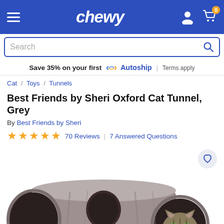chewy
Save 35% on your first Autoship | Terms apply
Cat / Toys / Tunnels
Best Friends by Sheri Oxford Cat Tunnel, Grey
By Best Friends by Sheri
70 Reviews | 7 Answered Questions
[Figure (photo): Grey fabric cat tunnel toy with a cat peeking out from one end, viewed on white background]